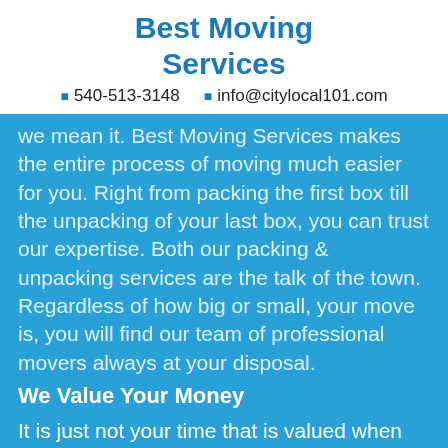Best Moving Services
📞 540-513-3148   📧 info@citylocal101.com
we mean it. Best Moving Services makes the entire process of moving much easier for you. Right from packing the first box till the unpacking of your last box, you can trust our expertise. Both our packing & unpacking services are the talk of the town. Regardless of how big or small, your move is, you will find our team of professional movers always at your disposal.
We Value Your Money
It is just not your time that is valued when you consider hiring our team of local movers in Castroville TX, but it also is your money. All our